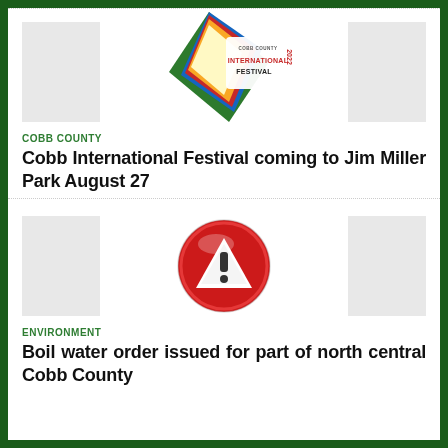[Figure (logo): Cobb County International Festival 2022 diamond-shaped logo with colorful geometric pattern]
COBB COUNTY
Cobb International Festival coming to Jim Miller Park August 27
[Figure (illustration): Red circle warning/alert icon with exclamation mark inside a triangle]
ENVIRONMENT
Boil water order issued for part of north central Cobb County